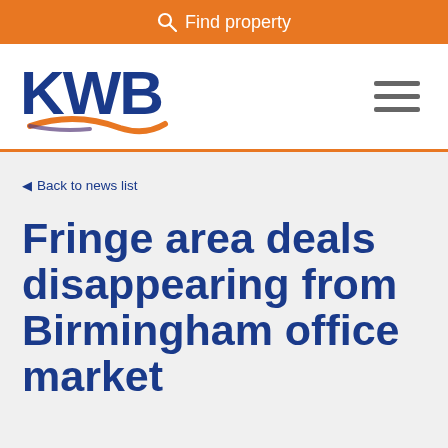Find property
[Figure (logo): KWB company logo with blue bold letters KWB and an orange/purple swoosh underneath]
Back to news list
Fringe area deals disappearing from Birmingham office market